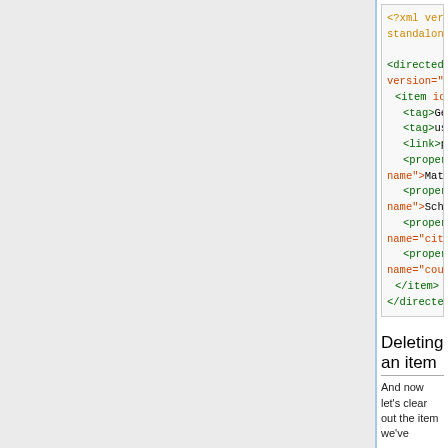[Figure (screenshot): XML code block showing a DirectedEdge XML document with item user4 containing tags (German, user), a link (product2), and properties (first name: Matthias, last name: Schmidt, city: Berlin, country: Germany)]
Deleting an item
And now let's clear out the item we've